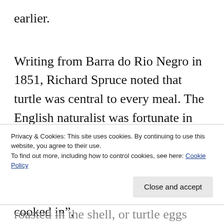earlier.
Writing from Barra do Rio Negro in 1851, Richard Spruce noted that turtle was central to every meal. The English naturalist was fortunate in being able to dine each day at the home of an Italian merchant who served excellent food, not least turtle. “I know not how many forms it is cooked in",
Privacy & Cookies: This site uses cookies. By continuing to use this website, you agree to their use.
To find out more, including how to control cookies, see here: Cookie Policy
roasted in the shell, or turtle eggs placed (which?), a